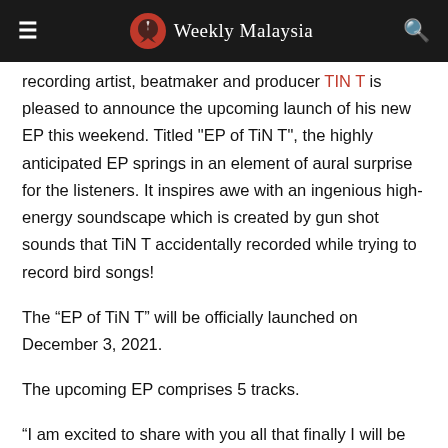Weekly Malaysia
recording artist, beatmaker and producer TIN T is pleased to announce the upcoming launch of his new EP this weekend. Titled "EP of TiN T", the highly anticipated EP springs in an element of aural surprise for the listeners. It inspires awe with an ingenious high-energy soundscape which is created by gun shot sounds that TiN T accidentally recorded while trying to record bird songs!
The “EP of TiN T” will be officially launched on December 3, 2021.
The upcoming EP comprises 5 tracks.
“I am excited to share with you all that finally I will be launching my upcoming EP, ‘EP of TiN T’, this coming weekend. Fun part is, I had plans for a cute bird sound for the